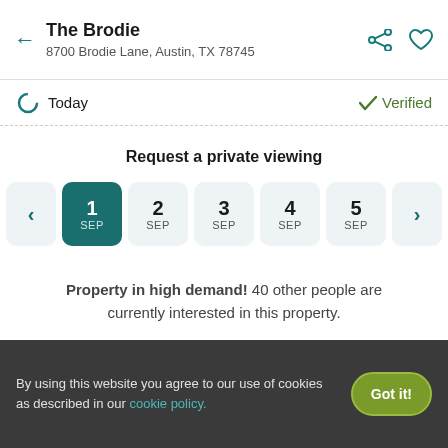The Brodie
8700 Brodie Lane, Austin, TX 78745
Today   Verified
Request a private viewing
1 SEP  2 SEP  3 SEP  4 SEP  5 SEP
Property in high demand! 40 other people are currently interested in this property.
Request Tour
By using this website you agree to our use of cookies as described in our cookie policy.